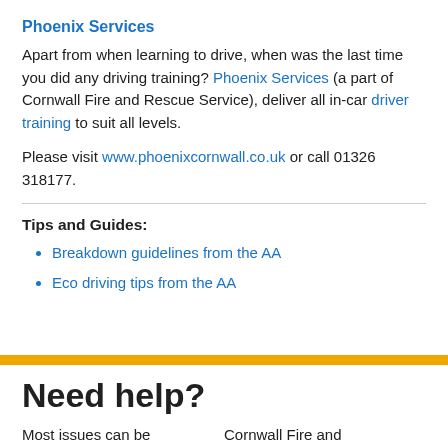Phoenix Services
Apart from when learning to drive, when was the last time you did any driving training? Phoenix Services (a part of Cornwall Fire and Rescue Service), deliver all in-car driver training to suit all levels.
Please visit www.phoenixcornwall.co.uk or call 01326 318177.
Tips and Guides:
Breakdown guidelines from the AA
Eco driving tips from the AA
Need help?
Most issues can be
Cornwall Fire and